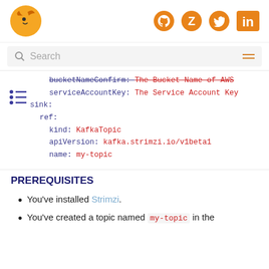Strimzi logo and social icons (GitHub, Zulip, Twitter, LinkedIn)
Search
[Figure (other): List/menu icon (sidebar toggle)]
bucketNameConfirm: The Bucket Name of AWS (strikethrough)
serviceAccountKey: The Service Account Key
sink:
  ref:
    kind: KafkaTopic
    apiVersion: kafka.strimzi.io/v1beta1
    name: my-topic
PREREQUISITES
You've installed Strimzi.
You've created a topic named my-topic in the